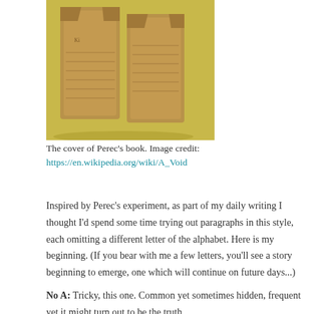[Figure (photo): Cover of Perec's book showing stone-like tablets with text, photographed against a yellow-green background.]
The cover of Perec's book. Image credit:
https://en.wikipedia.org/wiki/A_Void
Inspired by Perec's experiment, as part of my daily writing I thought I'd spend some time trying out paragraphs in this style, each omitting a different letter of the alphabet. Here is my beginning. (If you bear with me a few letters, you'll see a story beginning to emerge, one which will continue on future days...)
No A: Tricky, this one. Common yet sometimes hidden, frequent yet it might turn out to be the truth